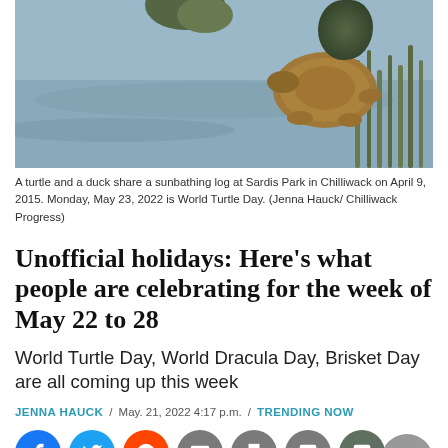[Figure (photo): A turtle and a duck sharing a sunbathing log at Sardis Park in Chilliwack, photographed April 9, 2015. Turtle visible at right, water in background.]
A turtle and a duck share a sunbathing log at Sardis Park in Chilliwack on April 9, 2015. Monday, May 23, 2022 is World Turtle Day. (Jenna Hauck/ Chilliwack Progress)
Unofficial holidays: Here’s what people are celebrating for the week of May 22 to 28
World Turtle Day, World Dracula Day, Brisket Day are all coming up this week
JENNA HAUCK  /  May. 21, 2022 4:17 p.m.  /  TRENDING NOW
Every day of the year there are weird and wonderful events,